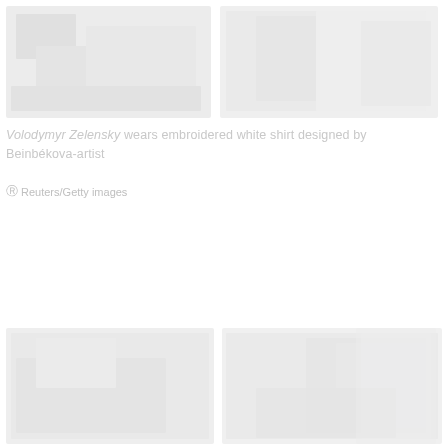[Figure (photo): Two photographs side by side at top of page, faded/light appearance showing outdoor scenes]
Volodymyr Zelensky wears embroidered white shirt designed by Beinbékova-artist
© Reuters/Getty images
[Figure (photo): Two photographs side by side at bottom of page, faded/light appearance showing outdoor crowd or event scenes]